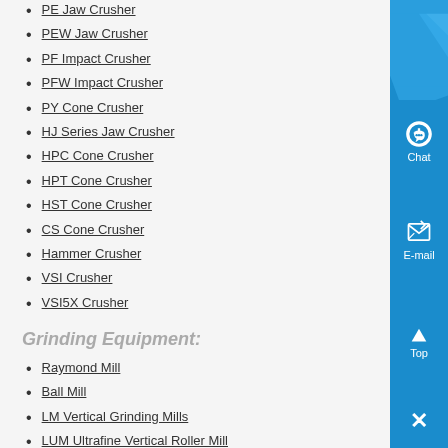PE Jaw Crusher
PEW Jaw Crusher
PF Impact Crusher
PFW Impact Crusher
PY Cone Crusher
HJ Series Jaw Crusher
HPC Cone Crusher
HPT Cone Crusher
HST Cone Crusher
CS Cone Crusher
Hammer Crusher
VSI Crusher
VSI5X Crusher
Grinding Equipment:
Raymond Mill
Ball Mill
LM Vertical Grinding Mills
LUM Ultrafine Vertical Roller Mill
MTM Trapezium Grinder
MTW Milling Machine